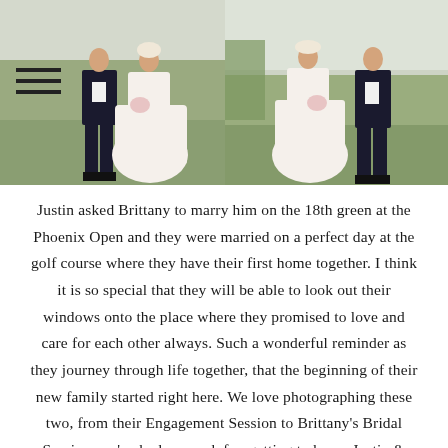[Figure (photo): Two side-by-side wedding photos showing a bride in a white dress and groom in a dark suit standing on grass. Left photo shows them facing each other; right photo shows a similar pose. A hamburger menu icon with three horizontal lines appears at the top-left of the left photo.]
Justin asked Brittany to marry him on the 18th green at the Phoenix Open and they were married on a perfect day at the golf course where they have their first home together. I think it is so special that they will be able to look out their windows onto the place where they promised to love and care for each other always. Such a wonderful reminder as they journey through life together, that the beginning of their new family started right here. We love photographing these two, from their Engagement Session to Brittany's Bridal Session, we've had so much fun getting to know Justin & Brittany and to see how excited they are to be husband and wife. I think you can see that excitement